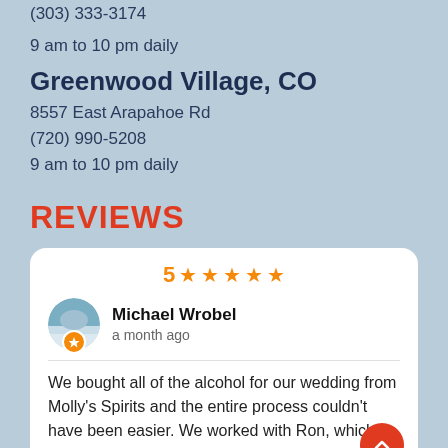(303) 333-3174
9 am to 10 pm daily
Greenwood Village, CO
8557 East Arapahoe Rd
(720) 990-5208
9 am to 10 pm daily
REVIEWS
5 ★★★★★
Michael Wrobel
a month ago
We bought all of the alcohol for our wedding from Molly's Spirits and the entire process couldn't have been easier. We worked with Ron, which is a